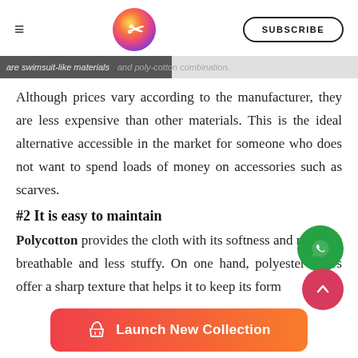≡ [logo] SUBSCRIBE
...and poly-cotton combination. Although prices vary according to the manufacturer, they are less expensive than other materials. This is the ideal alternative accessible in the market for someone who does not want to spend loads of money on accessories such as scarves.
#2 It is easy to maintain
Polycotton provides the cloth with its softness and makes it breathable and less stuffy. On one hand, polyester fibers offer a sharp texture that helps it to keep its form
[Figure (logo): WhatsApp floating button (green circle with phone icon)]
[Figure (other): Scroll to top button (red/pink circle with chevron up icon)]
[Figure (infographic): Launch New Collection button — orange-red gradient rounded rectangle with t-shirt icon and text 'Launch New Collection']